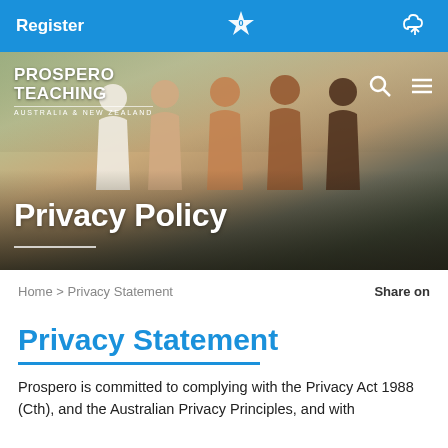Register
[Figure (screenshot): Prospero Teaching Australia & New Zealand website hero banner showing paper cutout people figures holding hands, with Privacy Policy title overlaid on a dark gradient at the bottom]
Home > Privacy Statement
Share on
Privacy Statement
Prospero is committed to complying with the Privacy Act 1988 (Cth), and the Australian Privacy Principles, and with